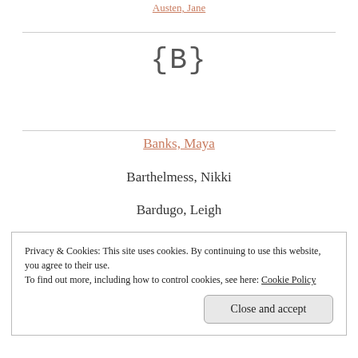Austen, Jane
{B}
Banks, Maya
Barthelmess, Nikki
Bardugo, Leigh
Privacy & Cookies: This site uses cookies. By continuing to use this website, you agree to their use. To find out more, including how to control cookies, see here: Cookie Policy